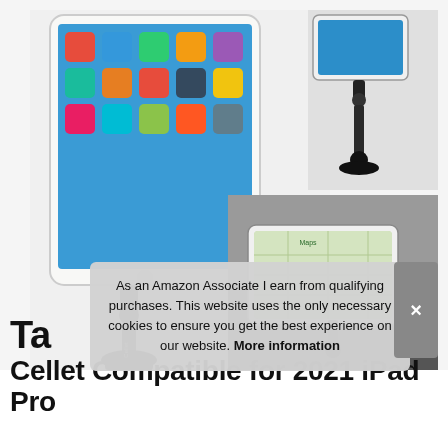[Figure (photo): Product photos of a Cellet tablet cup holder car mount. Left large image shows a white iPad in a black adjustable arm mount with cup holder base against a white background. Top right shows the mount from a different angle. Bottom right shows the mount in use in a car's cup holder with a tablet displaying Google Maps.]
As an Amazon Associate I earn from qualifying purchases. This website uses the only necessary cookies to ensure you get the best experience on our website. More information
Ta
Cellet Compatible for 2021 iPad Pro